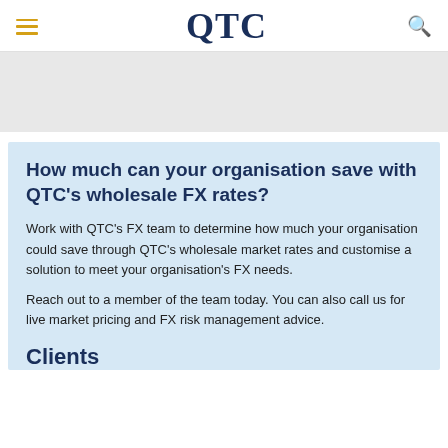QTC
[Figure (other): Grey banner image area]
How much can your organisation save with QTC's wholesale FX rates?
Work with QTC's FX team to determine how much your organisation could save through QTC's wholesale market rates and customise a solution to meet your organisation's FX needs.
Reach out to a member of the team today. You can also call us for live market pricing and FX risk management advice.
Clients